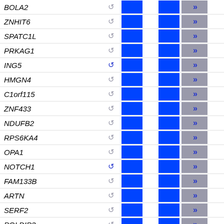| Gene | Icon | Col1 | Col2 | Arrow |
| --- | --- | --- | --- | --- |
| BOLA2 | ↺ | ■ | ■ | » |
| ZNHIT6 | ↺ | ■ | ■ | » |
| SPATC1L | ↺ | ■ | ■ | » |
| PRKAG1 | ↺ | ■ | ■ | » |
| ING5 | ↺ | ■ | ■ | » |
| HMGN4 | ↺ | ■ | ■ | » |
| C1orf115 | ↺ | ■ | ■ | » |
| ZNF433 | ↺ | ■ | ■ | » |
| NDUFB2 | ↺ | ■ | ■ | » |
| RPS6KA4 | ↺ | ■ | ■ | » |
| OPA1 | ↺ | ■ | ■ | » |
| NOTCH1 | ↺ | ■ | ■ | » |
| FAM133B | ↺ | ■ | ■ | » |
| ARTN | ↺ | ■ | ■ | » |
| SERF2 | ↺ | ■ | ■ | » |
| POLDIP3 | ↺ | ■ | ■ | » |